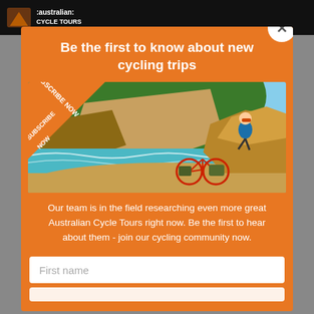[Figure (logo): Australian Cycle Tours logo in header bar]
Be the first to know about new cycling trips
[Figure (photo): A cyclist sitting on coastal rocks beside a red bicycle, with turquoise sea and cliff face in background. Orange diagonal banner in top-left corner reads 'SUBSCRIBE NOW'.]
Our team is in the field researching even more great Australian Cycle Tours right now. Be the first to hear about them - join our cycling community now.
First name